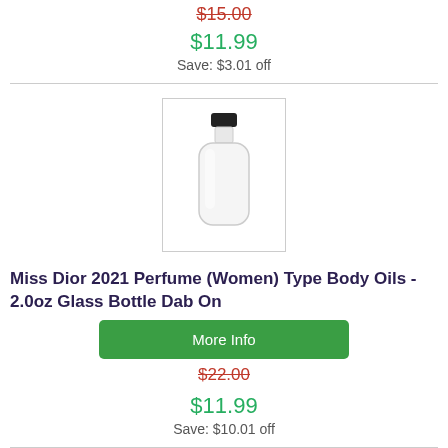$15.00 (strikethrough)
$11.99
Save: $3.01 off
[Figure (photo): Clear glass bottle with black cap, perfume/oil container]
Miss Dior 2021 Perfume (Women) Type Body Oils - 2.0oz Glass Bottle Dab On
More Info
$22.00 (strikethrough)
$11.99
Save: $10.01 off
[Figure (photo): White bottle, partially visible at bottom of page]